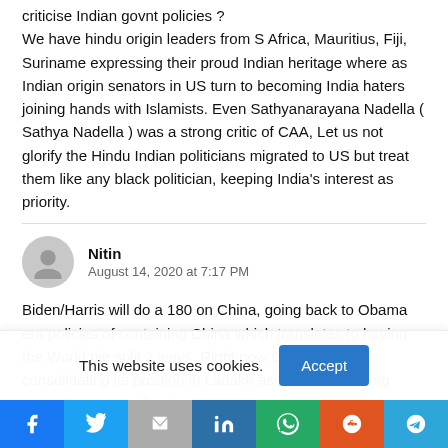criticise Indian govnt policies ? We have hindu origin leaders from S Africa, Mauritius, Fiji, Suriname expressing their proud Indian heritage where as Indian origin senators in US turn to becoming India haters joining hands with Islamists. Even Sathyanarayana Nadella ( Sathya Nadella ) was a strong critic of CAA, Let us not glorify the Hindu Indian politicians migrated to US but treat them like any black politician, keeping India's interest as priority.
Nitin
August 14, 2020 at 7:17 PM
Biden/Harris will do a 180 on China, going back to Obama era policies of containing China which translates to having the World pie split 2 ways. Right now China is quietly consolidating its position in Ladakh as it realizes having opened too many fronts
This website uses cookies.
Accept